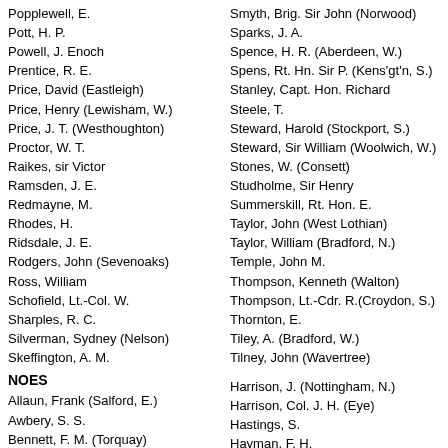Popplewell, E.
Pott, H. P.
Powell, J. Enoch
Prentice, R. E.
Price, David (Eastleigh)
Price, Henry (Lewisham, W.)
Price, J. T. (Westhoughton)
Proctor, W. T.
Raikes, sir Victor
Ramsden, J. E.
Redmayne, M.
Rhodes, H.
Ridsdale, J. E.
Rodgers, John (Sevenoaks)
Ross, William
Schofield, Lt.-Col. W.
Sharples, R. C.
Silverman, Sydney (Nelson)
Skeffington, A. M.
NOES
Allaun, Frank (Salford, E.)
Awbery, S. S.
Bennett, F. M. (Torquay)
Bishop, F. P.
Smyth, Brig. Sir John (Norwood)
Sparks, J. A.
Spence, H. R. (Aberdeen, W.)
Spens, Rt. Hn. Sir P. (Kens'gt'n, S.)
Stanley, Capt. Hon. Richard
Steele, T.
Steward, Harold (Stockport, S.)
Steward, Sir William (Woolwich, W.)
Stones, W. (Consett)
Studholme, Sir Henry
Summerskill, Rt. Hon. E.
Taylor, John (West Lothian)
Taylor, William (Bradford, N.)
Temple, John M.
Thompson, Kenneth (Walton)
Thompson, Lt.-Cdr. R.(Croydon, S.)
Thornton, E.
Tiley, A. (Bradford, W.)
Tilney, John (Wavertree)
Harrison, J. (Nottingham, N.)
Harrison, Col. J. H. (Eye)
Hastings, S.
Hayman, F. H.